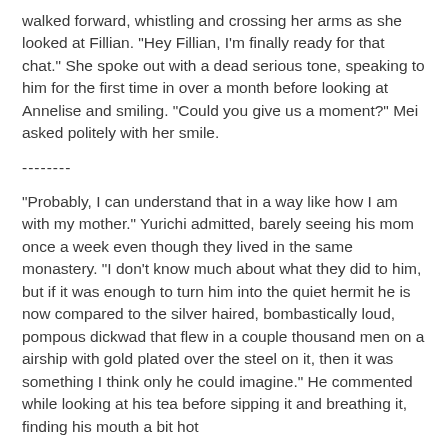walked forward, whistling and crossing her arms as she looked at Fillian. "Hey Fillian, I'm finally ready for that chat." She spoke out with a dead serious tone, speaking to him for the first time in over a month before looking at Annelise and smiling. "Could you give us a moment?" Mei asked politely with her smile.
--------
"Probably, I can understand that in a way like how I am with my mother." Yurichi admitted, barely seeing his mom once a week even though they lived in the same monastery. "I don't know much about what they did to him, but if it was enough to turn him into the quiet hermit he is now compared to the silver haired, bombastically loud, pompous dickwad that flew in a couple thousand men on a airship with gold plated over the steel on it, then it was something I think only he could imagine." He commented while looking at his tea before sipping it and breathing it, finding his mouth a bit hot